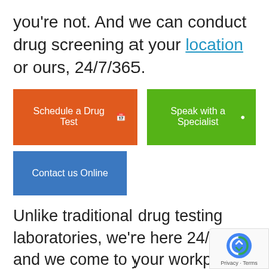you're not. And we can conduct drug screening at your location or ours, 24/7/365.
Schedule a Drug Test
Speak with a Specialist
Contact us Online
Unlike traditional drug testing laboratories, we're here 24/7—and we come to your workplace to minimiz downtime. When we're managing y